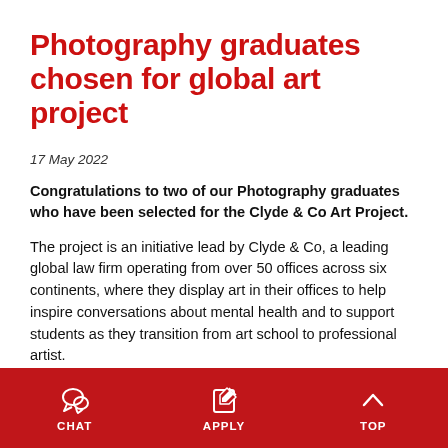Photography graduates chosen for global art project
17 May 2022
Congratulations to two of our Photography graduates who have been selected for the Clyde & Co Art Project.
The project is an initiative lead by Clyde & Co, a leading global law firm operating from over 50 offices across six continents, where they display art in their offices to help inspire conversations about mental health and to support students as they transition from art school to professional artist.
Graduates Sarah Matheson and Hamish Jennings will have
[Figure (infographic): Red footer bar with three navigation icons and labels: CHAT (speech bubble icon), APPLY (edit/pencil icon), TOP (caret up icon)]